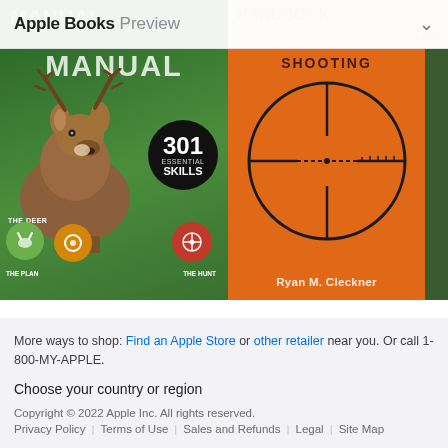Apple Books Preview
[Figure (photo): Book cover: Field & Stream: The Total Deer Hunter Manual - green cover with deer and hunter manual text, 301 Essential Skills badge, icons for The Deer, The Plan, The Hunt]
[Figure (photo): Book cover: Long Range Shooting Handbook - orange cover with crosshair/scope reticle circle, author Ryan M. Cleckner]
Field & Stream: The Total Deer Hunter Manual
2013
Long Range Shooting Handbook
2016
Bu...
201...
More ways to shop: Find an Apple Store or other retailer near you. Or call 1-800-MY-APPLE.
Choose your country or region
Copyright © 2022 Apple Inc. All rights reserved.
Privacy Policy | Terms of Use | Sales and Refunds | Legal | Site Map